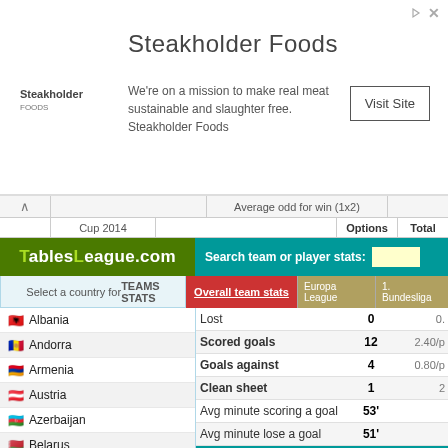[Figure (screenshot): Advertisement banner for Steakholder Foods with logo, tagline, and Visit Site button]
Average odd for win (1x2)
Options | Total
[Figure (logo): TablesLeague.com green logo]
Search team or player stats:
Overall team stats | Europa League | 1. Bundesliga
Select a country for TEAMS STATS
Albania
Andorra
Armenia
Austria
Azerbaijan
Belarus
Belgium
Bosnia
Bulgaria
Croatia
|  |  |  |
| --- | --- | --- |
| Lost | 0 | 0. |
| Scored goals | 12 | 2.40/p |
| Goals against | 4 | 0.80/p |
| Clean sheet | 1 | 2 |
| Avg minute scoring a goal | 53' |  |
| Avg minute lose a goal | 51' |  |
Fixtures & Results Union Berlin
| # | Date | Game |
| --- | --- | --- |
| 1 | 01-08-2022 | Chemnitzer FC - Union Berlin |
| 2 | 06-08-2022 | Union Berlin - Hertha Berlin |
| 3 | 14-08-2022 | Mainz 05 - Union Berlin |
| 4 | 20-08-2022 | Union Berlin - RB Leipzig |